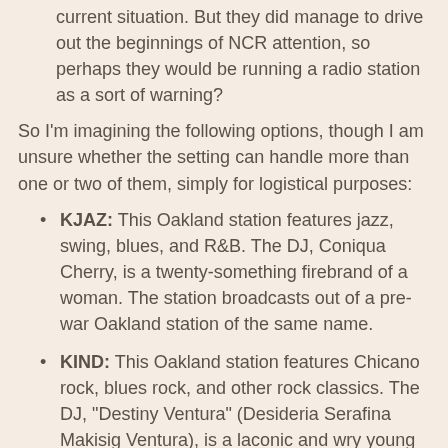current situation. But they did manage to drive out the beginnings of NCR attention, so perhaps they would be running a radio station as a sort of warning?
So I'm imagining the following options, though I am unsure whether the setting can handle more than one or two of them, simply for logistical purposes:
KJAZ: This Oakland station features jazz, swing, blues, and R&B. The DJ, Coniqua Cherry, is a twenty-something firebrand of a woman. The station broadcasts out of a pre-war Oakland station of the same name.
KIND: This Oakland station features Chicano rock, blues rock, and other rock classics. The DJ, "Destiny Ventura" (Desideria Serafina Makisig Ventura), is a laconic and wry young Filipina/Latina-American who broadcasts out of an old radio station within The International, a fortified settlement between Lake Merritt and the old Fruitvale BART station.